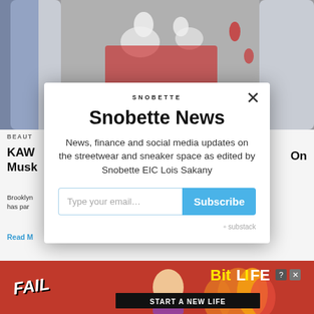[Figure (screenshot): Background webpage showing a sneaker/streetwear article with a blurred/partial image of KAWS figures and article text. Visible text includes 'BEAUT', 'KAWS', 'Musk', 'Brooklyn', 'has par', 'Read M', 'On'.]
[Figure (screenshot): Modal popup newsletter signup overlay for Snobette. Contains the Snobette logo at top, a close X button, title 'Snobette News', description text, email input field, Subscribe button, and Substack branding at bottom.]
Snobette News
News, finance and social media updates on the streetwear and sneaker space as edited by Snobette EIC Lois Sakany
[Figure (screenshot): Bottom banner advertisement for BitLife mobile game with red/fire background, 'FAIL' text, cartoon character, flame graphics, BitLife logo, and 'START A NEW LIFE' tagline.]